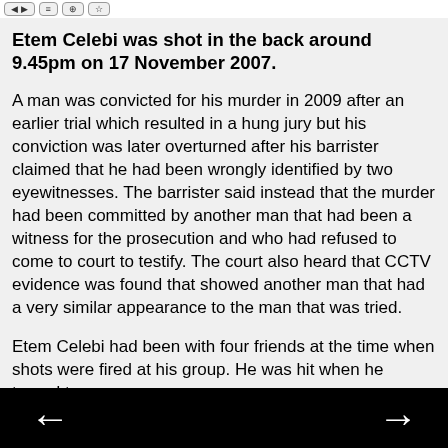[navigation buttons]
Etem Celebi was shot in the back around 9.45pm on 17 November 2007.
A man was convicted for his murder in 2009 after an earlier trial which resulted in a hung jury but his conviction was later overturned after his barrister claimed that he had been wrongly identified by two eyewitnesses. The barrister said instead that the murder had been committed by another man that had been a witness for the prosecution and who had refused to come to court to testify. The court also heard that CCTV evidence was found that showed another man that had a very similar appearance to the man that was tried.
Etem Celebi had been with four friends at the time when shots were fired at his group. He was hit when he turned to run away.
The court heard that Etem Celebi had been affiliated with the Smalley Man Dom gang from Smalley Close in Stoke
← →